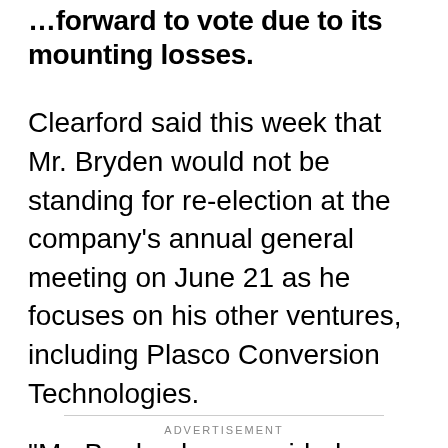…forward to vote due to its mounting losses.
Clearford said this week that Mr. Bryden would not be standing for re-election at the company's annual general meeting on June 21 as he focuses on his other ventures, including Plasco Conversion Technologies.
"Mr. Bryden has provided guidance and advice on the direction of the company for the past 12 years and has put us in a position to be successful with our product offering," stated Kevin Loiselle, Clearford's president and CEO, who the company expects to replace Mr. Bryden as chair.
ADVERTISEMENT